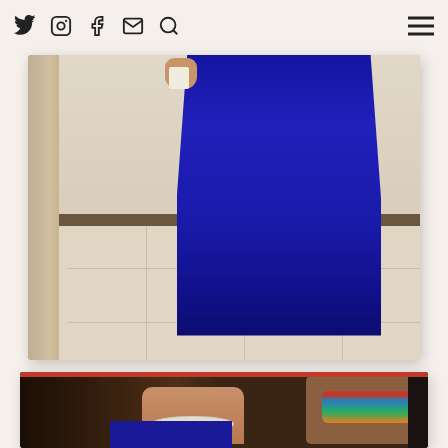Social media navigation icons: Twitter, Instagram, Facebook, Email, Search, Hamburger menu
[Figure (photo): Photo of person wearing a long royal blue maxi dress/abaya, showing lower body and feet on tiled floor with door frame visible]
[Figure (photo): Photo of woman with dark brown hair wearing a blue top and colorful bracelet, white necklace visible]